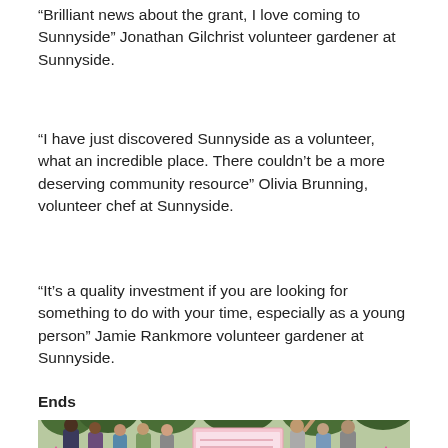“Brilliant news about the grant, I love coming to Sunnyside” Jonathan Gilchrist volunteer gardener at Sunnyside.
“I have just discovered Sunnyside as a volunteer, what an incredible place. There couldn’t be a more deserving community resource” Olivia Brunning, volunteer chef at Sunnyside.
“It’s a quality investment if you are looking for something to do with your time, especially as a young person” Jamie Rankmore volunteer gardener at Sunnyside.
Ends
[Figure (photo): Group of people standing outdoors in a garden setting, holding a large cheque and pink Community Fund banners/signs, with trees and green foliage in the background.]